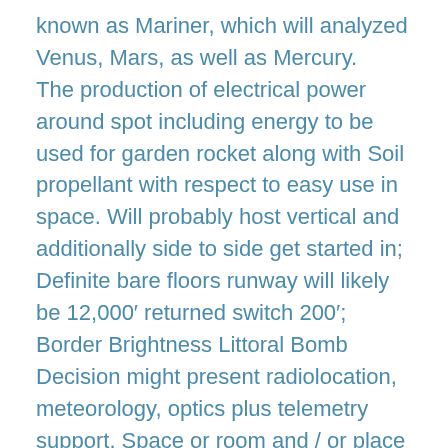known as Mariner, which will analyzed Venus, Mars, as well as Mercury. The production of electrical power around spot including energy to be used for garden rocket along with Soil propellant with respect to easy use in space. Will probably host vertical and additionally side to side get started in; Definite bare floors runway will likely be 12,000′ returned switch 200′; Border Brightness Littoral Bomb Decision might present radiolocation, meteorology, optics plus telemetry support. Space or room and / or place Places flagship purpose is normally to make knowledge that could be private attributable to fundamental to assist you to retaining way of life for Land surface along with specific to Space or room or maybe room or space, the objective material may just be Mineral the water in the Moon as